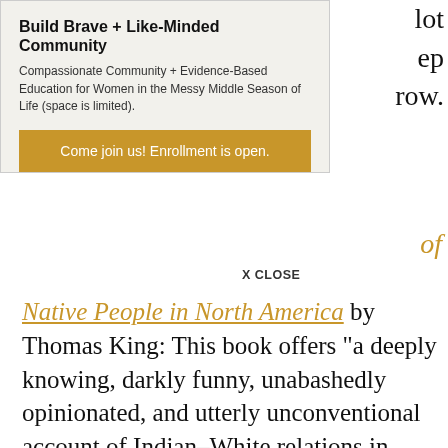[Figure (screenshot): Popup overlay with title 'Build Brave + Like-Minded Community', subtitle about compassionate community and evidence-based education for women, and a golden button 'Come join us! Enrollment is open.' with an X CLOSE button.]
lot
ep
row.
of
Native People in North America by Thomas King: This book offers “a deeply knowing, darkly funny, unabashedly opinionated, and utterly unconventional account of Indian–White relations in North America since initial contact. Ranging freely across the centuries and the Canada–U.S. border.”
Seven Fallen Feathers: Racism, Death, and Hard Truths in a Northern City by Tanya Talaga: From the description “Using a sweeping narrative focusing on the lives of the students, award-